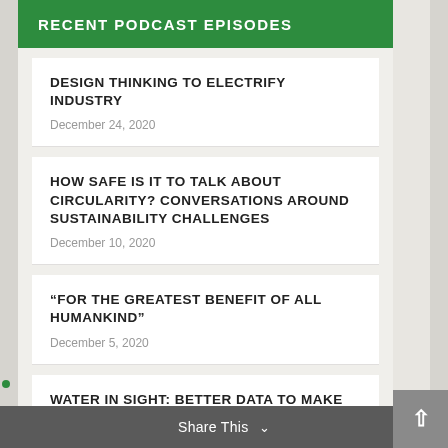RECENT PODCAST EPISODES
DESIGN THINKING TO ELECTRIFY INDUSTRY
December 24, 2020
HOW SAFE IS IT TO TALK ABOUT CIRCULARITY? CONVERSATIONS AROUND SUSTAINABILITY CHALLENGES
December 10, 2020
“FOR THE GREATEST BENEFIT OF ALL HUMANKIND”
December 5, 2020
WATER IN SIGHT: BETTER DATA TO MAKE BETTER DECISIONS ABOUT WATER
November 26, 2020
WHO ARE THE STAKEHOLDERS FOR
Share This